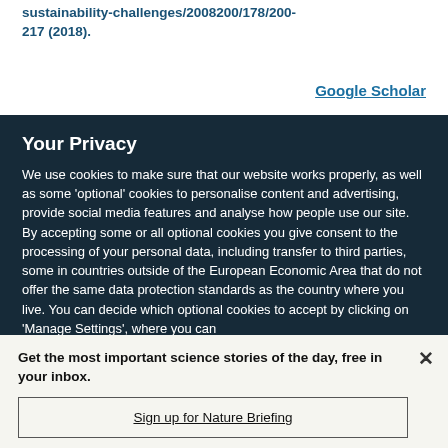sustainability-challenges/2008200/178/200-217 (2018).
Google Scholar
Your Privacy
We use cookies to make sure that our website works properly, as well as some 'optional' cookies to personalise content and advertising, provide social media features and analyse how people use our site. By accepting some or all optional cookies you give consent to the processing of your personal data, including transfer to third parties, some in countries outside of the European Economic Area that do not offer the same data protection standards as the country where you live. You can decide which optional cookies to accept by clicking on 'Manage Settings', where you can
Get the most important science stories of the day, free in your inbox.
Sign up for Nature Briefing